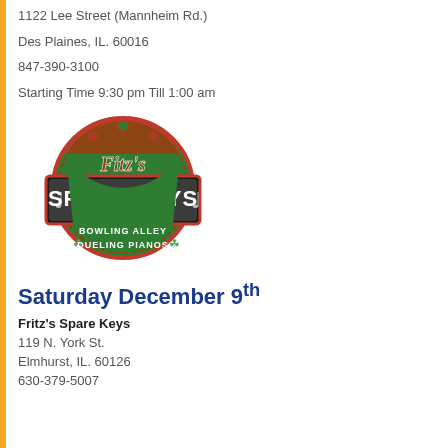1122 Lee Street (Mannheim Rd.)
Des Plaines, IL. 60016
847-390-3100
Starting Time 9:30 pm Till 1:00 am
[Figure (logo): Fitz's Spare Keys Bowling Alley Dueling Pianos logo — circular green badge with orange border, featuring shamrocks and the venue name in bold stylized text]
Saturday December 9th
Fritz's Spare Keys
119 N. York St.
Elmhurst, IL. 60126
630-379-5007